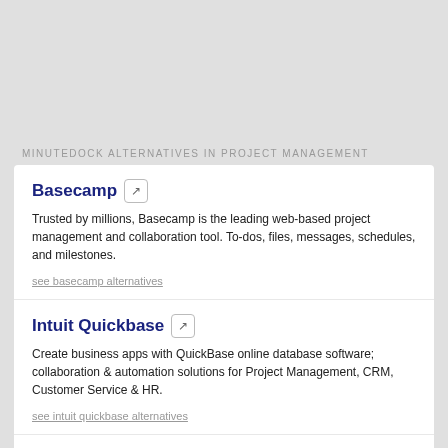MINUTEDOCK ALTERNATIVES IN PROJECT MANAGEMENT
Basecamp
Trusted by millions, Basecamp is the leading web-based project management and collaboration tool. To-dos, files, messages, schedules, and milestones.
see basecamp alternatives
Intuit Quickbase
Create business apps with QuickBase online database software; collaboration & automation solutions for Project Management, CRM, Customer Service & HR.
see intuit quickbase alternatives
Atlassian
Millions of users globally rely on Atlassian products every day for improving software development, project management, collaboration, and code quality.
see atlassian alternatives